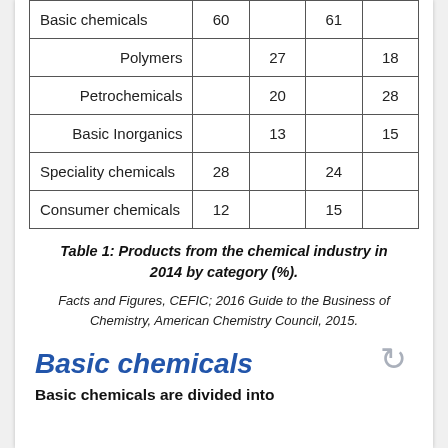|  | Col1 | Col2 | Col3 | Col4 |
| --- | --- | --- | --- | --- |
| Basic chemicals | 60 |  | 61 |  |
| Polymers |  | 27 |  | 18 |
| Petrochemicals |  | 20 |  | 28 |
| Basic Inorganics |  | 13 |  | 15 |
| Speciality chemicals | 28 |  | 24 |  |
| Consumer chemicals | 12 |  | 15 |  |
Table 1: Products from the chemical industry in 2014 by category (%).
Facts and Figures, CEFIC; 2016 Guide to the Business of Chemistry, American Chemistry Council, 2015.
Basic chemicals
Basic chemicals are divided into